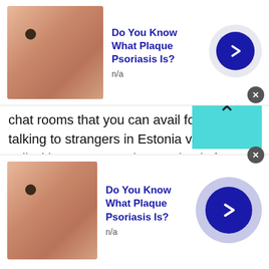[Figure (screenshot): Top advertisement banner: skin condition image on left, 'Do You Know What Plaque Psoriasis Is?' title in blue bold, 'n/a' subtitle, blue circular arrow button on right.]
chat rooms that you can avail for free. Yes, talking to strangers in Estonia via Talkwithstranger app is completely free. You can talk to strangers in Estonia, Germany, Canada, India, Pakistan, UK or wherever you live without any registration process.
An incredible list of random chat rooms at Talkwithstranger
Talking to strangers in Estonia is incredibly easy and
[Figure (screenshot): Bottom advertisement banner: skin condition image on left, 'Do You Know What Plaque Psoriasis Is?' title in blue bold, 'n/a' subtitle, blue circular arrow button with purple glow on right.]